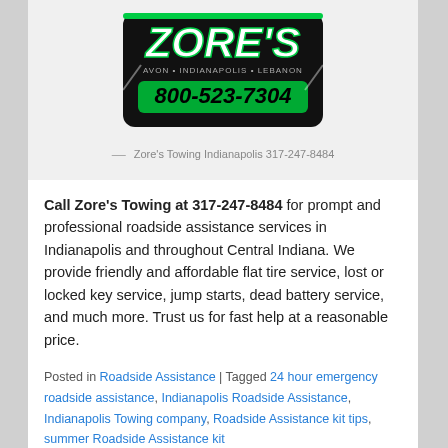[Figure (logo): Zore's towing company logo with phone number 800-523-7304, locations Avon, Indianapolis, Lebanon]
— Zore's Towing Indianapolis 317-247-8484
Call Zore's Towing at 317-247-8484 for prompt and professional roadside assistance services in Indianapolis and throughout Central Indiana. We provide friendly and affordable flat tire service, lost or locked key service, jump starts, dead battery service, and much more. Trust us for fast help at a reasonable price.
Posted in Roadside Assistance | Tagged 24 hour emergency roadside assistance, Indianapolis Roadside Assistance, Indianapolis Towing company, Roadside Assistance kit tips, summer Roadside Assistance kit
What To Do If Your Car is